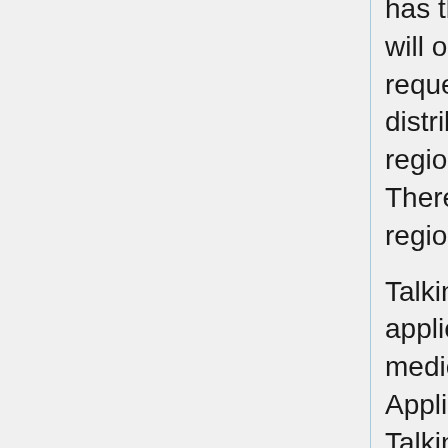has thousands of titles available or will order what the applicant requests. Talking Books are distributed through a network of regional and sub-regional libraries. There are no fees charged by the regional libraries of the NLS.
Talking Books requires that your application be signed by a doctor of medicine, not a psychologist. Applications can be obtained from a Talking Books Center in your area.
Both services require a special cassette player, CD player or software to read the CD. The cassette player uses 4-track tapes. The tape player is supplied as a free loan when you submit your application to a Talking Books Center. A smaller sized version of the 4-track player can be purchased through RFB&D by calling (800) 221-4792. The